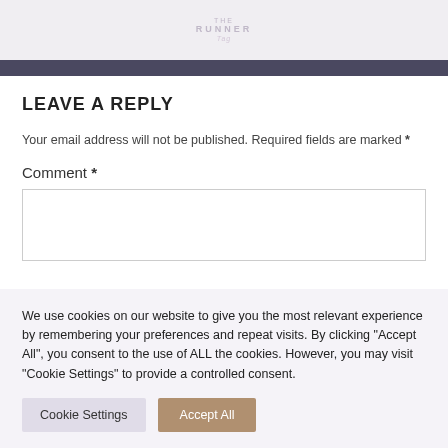THE RUNNER TAG
LEAVE A REPLY
Your email address will not be published. Required fields are marked *
Comment *
We use cookies on our website to give you the most relevant experience by remembering your preferences and repeat visits. By clicking “Accept All”, you consent to the use of ALL the cookies. However, you may visit "Cookie Settings" to provide a controlled consent.
Cookie Settings
Accept All